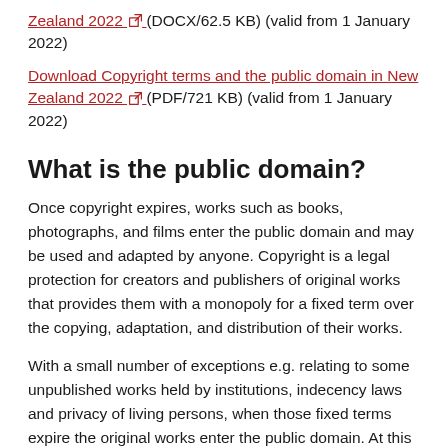Zealand 2022 (DOCX/62.5 KB) (valid from 1 January 2022)
Download Copyright terms and the public domain in New Zealand 2022 (PDF/721 KB) (valid from 1 January 2022)
What is the public domain?
Once copyright expires, works such as books, photographs, and films enter the public domain and may be used and adapted by anyone. Copyright is a legal protection for creators and publishers of original works that provides them with a monopoly for a fixed term over the copying, adaptation, and distribution of their works.
With a small number of exceptions e.g. relating to some unpublished works held by institutions, indecency laws and privacy of living persons, when those fixed terms expire the original works enter the public domain. At this point, permission or authorisation to copy, adapt, or distribute the